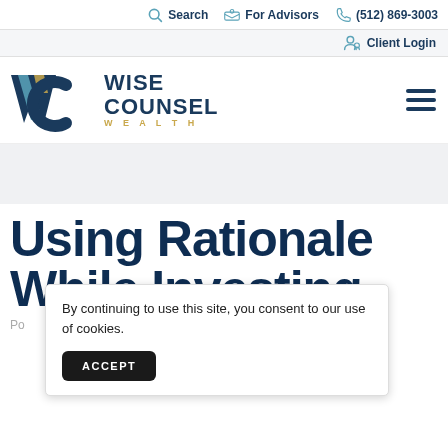Search   For Advisors   (512) 869-3003
Client Login
[Figure (logo): Wise Counsel Wealth logo with stylized WC monogram in navy, teal, and gold colors, followed by WISE COUNSEL in navy bold and WEALTH in gold tracking]
Using Rationale While Investing
Po...
By continuing to use this site, you consent to our use of cookies.
ACCEPT